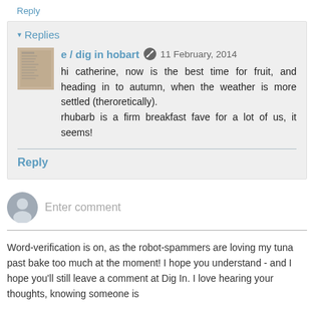Reply
Replies
e / dig in hobart  11 February, 2014
hi catherine, now is the best time for fruit, and heading in to autumn, when the weather is more settled (theroretically).
rhubarb is a firm breakfast fave for a lot of us, it seems!
Reply
Enter comment
Word-verification is on, as the robot-spammers are loving my tuna past bake too much at the moment! I hope you understand - and I hope you'll still leave a comment at Dig In. I love hearing your thoughts, knowing someone is